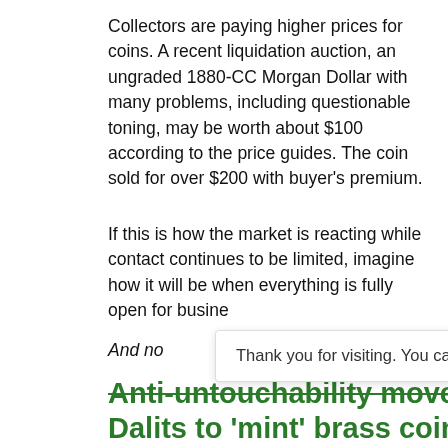Collectors are paying higher prices for coins. A recent liquidation auction, an ungraded 1880-CC Morgan Dollar with many problems, including questionable toning, may be worth about $100 according to the price guides. The coin sold for over $200 with buyer's premium.
If this is how the market is reacting while contact continues to be limited, imagine how it will be when everything is fully open for busine[ss.]
And no[w...]
[Figure (infographic): Tooltip popup overlay saying 'Thank you for visiting. You can now buy me a coffee!' with a teal circular coffee cup button and a grey scroll-up arrow button]
Anti-untouchability move: Dalits to 'mint' brass coin to be laid beneath new Parliament
March 22, 2021